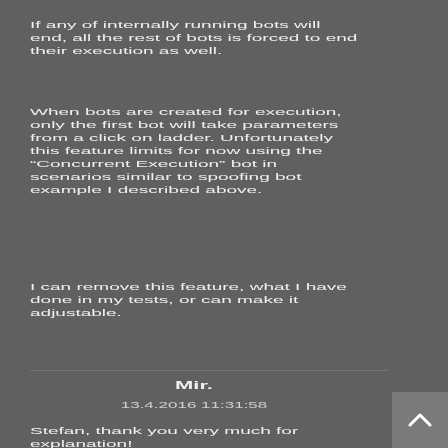If any of internally running bots will end, all the rest of bots is forced to end their execution as well.
When bots are created for execution, only the first bot will take parameters from a click on ladder. Unfortunately this feature limits for now using the “Concurrent Execution” bot in scenarios similar to spoofing bot example I described above.
I can remove this feature, what I have done in my tests, or can make it adjustable.
Mir.
13.4.2016 11:31:58
Stefan, thank you very much for explanation!